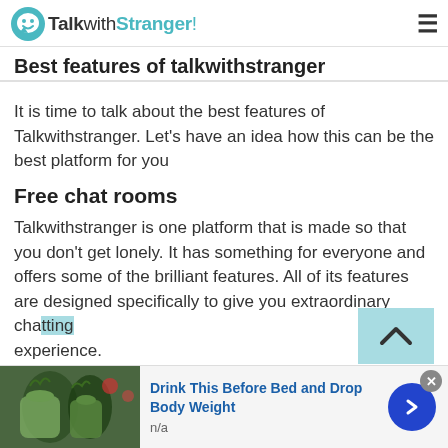TalkwithStranger!
Best features of talkwithstranger
It is time to talk about the best features of Talkwithstranger. Let's have an idea how this can be the best platform for you
Free chat rooms
Talkwithstranger is one platform that is made so that you don't get lonely. It has something for everyone and offers some of the brilliant features. All of its features are designed specifically to give you extraordinary chatting experience.
[Figure (infographic): Advertisement banner: image of green drinks/smoothies on left, text 'Drink This Before Bed and Drop Body Weight' in blue bold, 'n/a' subtitle, blue circular arrow button on right, close X button top right.]